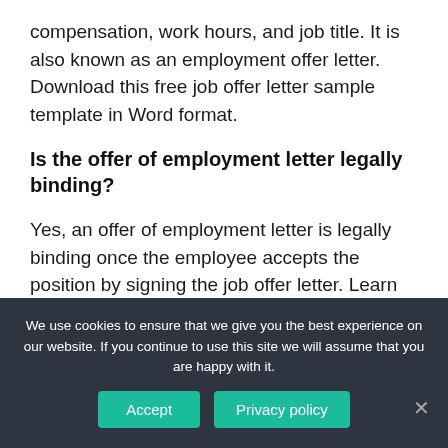compensation, work hours, and job title. It is also known as an employment offer letter. Download this free job offer letter sample template in Word format.
Is the offer of employment letter legally binding?
Yes, an offer of employment letter is legally binding once the employee accepts the position by signing the job offer letter. Learn more about job offers. How do I write a job offer letter? Indicate the company name and job title at the top of the page. Follow this with “Dear Applicant Name,” and congratulate
We use cookies to ensure that we give you the best experience on our website. If you continue to use this site we will assume that you are happy with it.
Accept
Privacy policy